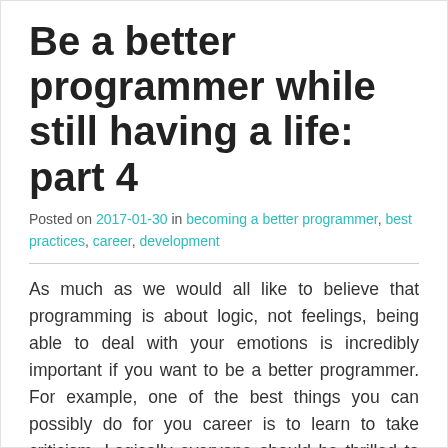Be a better programmer while still having a life: part 4
Posted on 2017-01-30 in becoming a better programmer, best practices, career, development
As much as we would all like to believe that programming is about logic, not feelings, being able to deal with your emotions is incredibly important if you want to be a better programmer. For example, one of the best things you can possibly do for you career is to learn to take criticism. Logically everyone should be thrilled to get feedback on their work but you know what gets in.. Read More